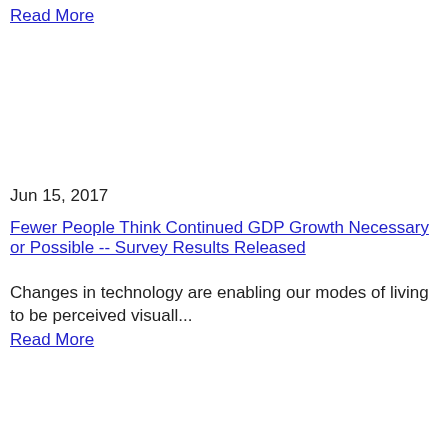Read More
Jun 15, 2017
Fewer People Think Continued GDP Growth Necessary or Possible -- Survey Results Released
Changes in technology are enabling our modes of living to be perceived visuall...
Read More